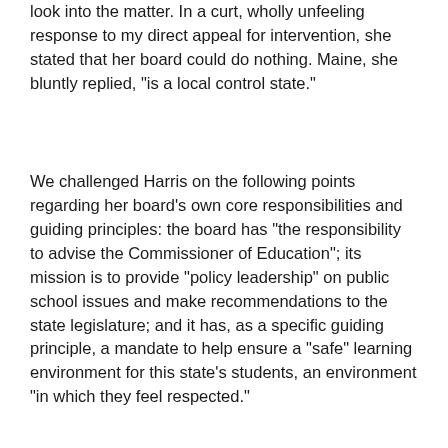look into the matter. In a curt, wholly unfeeling response to my direct appeal for intervention, she stated that her board could do nothing. Maine, she bluntly replied, "is a local control state."
We challenged Harris on the following points regarding her board's own core responsibilities and guiding principles: the board has "the responsibility to advise the Commissioner of Education"; its mission is to provide "policy leadership" on public school issues and make recommendations to the state legislature; and it has, as a specific guiding principle, a mandate to help ensure a "safe" learning environment for this state's students, an environment "in which they feel respected."